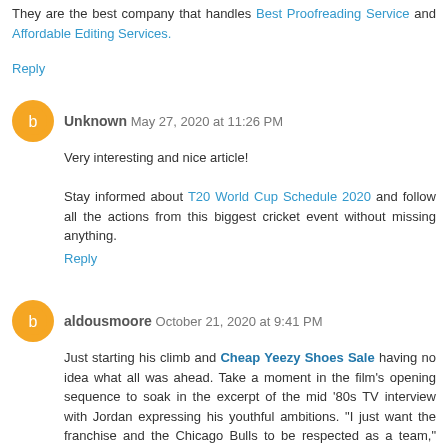They are the best company that handles Best Proofreading Service and Affordable Editing Services.
Reply
Unknown  May 27, 2020 at 11:26 PM
Very interesting and nice article!

Stay informed about T20 World Cup Schedule 2020 and follow all the actions from this biggest cricket event without missing anything.
Reply
aldousmoore  October 21, 2020 at 9:41 PM
Just starting his climb and Cheap Yeezy Shoes Sale having no idea what all was ahead. Take a moment in the film's opening sequence to soak in the excerpt of the mid '80s TV interview with Jordan expressing his youthful ambitions. "I just want the franchise and the Chicago Bulls to be respected as a team," Jordan says.